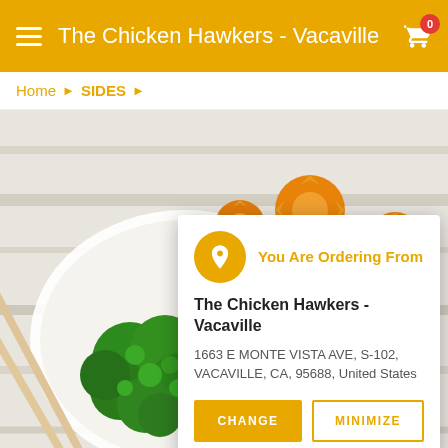The Chicken Hawkers - Vacaville
Home › SIDES ›
[Figure (photo): A bowl of steamed broccoli and carved carrot flowers with chopsticks on a white wooden surface]
You Are Ordering From
The Chicken Hawkers - Vacaville
1663 E MONTE VISTA AVE, S-102, VACAVILLE, CA, 95688, United States
CHANGE   MINIMIZE